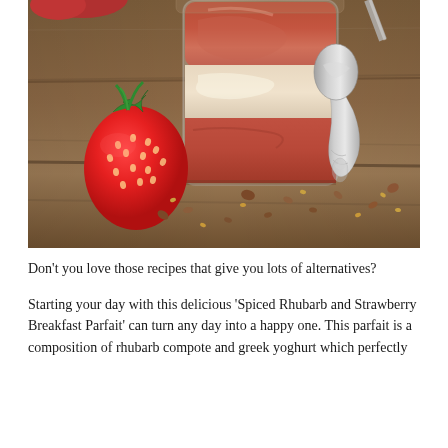[Figure (photo): Close-up food photo of a glass jar containing layered rhubarb compote and cream/yogurt parfait, a fresh red strawberry leaning against it, a silver vintage spoon beside it, all on a rustic wooden board with scattered seeds and nuts.]
Don't you love those recipes that give you lots of alternatives?
Starting your day with this delicious 'Spiced Rhubarb and Strawberry Breakfast Parfait' can turn any day into a happy one. This parfait is a composition of rhubarb compote and greek yoghurt which perfectly...